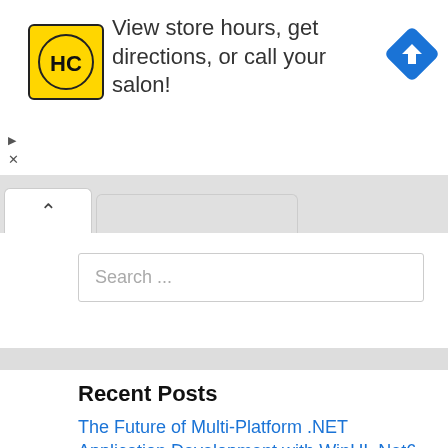[Figure (screenshot): Advertisement banner with HC (Hair Club) yellow logo icon, text 'View store hours, get directions, or call your salon!', and a blue navigation arrow icon on the right.]
[Figure (screenshot): Browser tab bar with an active white tab showing a caret/up arrow icon, and a gray inactive tab to the right.]
Search ...
Recent Posts
The Future of Multi-Platform .NET Application Development with WinUI, Net6 and the .Net Platform...